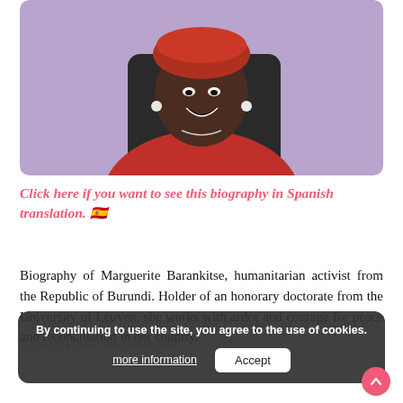[Figure (photo): Portrait photo of Marguerite Barankitse, a smiling woman wearing a red outfit and headwrap, sitting in a chair against a purple background]
Click here if you want to see this biography in Spanish translation. 🇪🇸
Biography of Marguerite Barankitse, humanitarian activist from the Republic of Burundi. Holder of an honorary doctorate from the University of Leuven, she works with ardor and courage for peace and reconciliation in her country.
She dedicates her life to improving the well-being of children and fighting ethnic discrimination.
By continuing to use the site, you agree to the use of cookies. more information  Accept